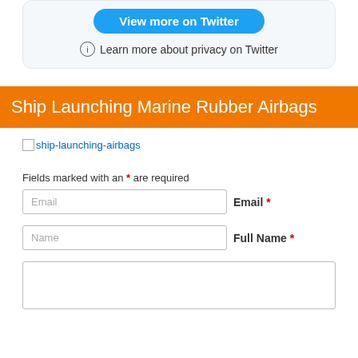[Figure (screenshot): Twitter embedded widget card with 'View more on Twitter' blue button and privacy info link]
Ship Launching Marine Rubber Airbags
[Figure (photo): Broken image placeholder for ship-launching-airbags]
Fields marked with an * are required
Email *
Full Name *